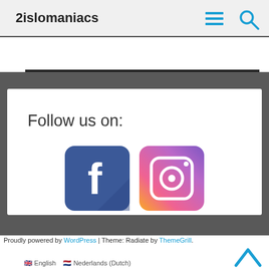2islomaniacs
Follow us on:
[Figure (logo): Facebook logo icon — blue rounded square with white 'f']
[Figure (logo): Instagram logo icon — gradient rounded square with white camera outline]
Proudly powered by WordPress | Theme: Radiate by ThemeGrill.
English  Nederlands (Dutch)